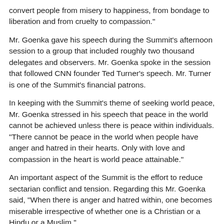convert people from misery to happiness, from bondage to liberation and from cruelty to compassion."
Mr. Goenka gave his speech during the Summit's afternoon session to a group that included roughly two thousand delegates and observers. Mr. Goenka spoke in the session that followed CNN founder Ted Turner's speech. Mr. Turner is one of the Summit's financial patrons.
In keeping with the Summit's theme of seeking world peace, Mr. Goenka stressed in his speech that peace in the world cannot be achieved unless there is peace within individuals. "There cannot be peace in the world when people have anger and hatred in their hearts. Only with love and compassion in the heart is world peace attainable."
An important aspect of the Summit is the effort to reduce sectarian conflict and tension. Regarding this Mr. Goenka said, "When there is anger and hatred within, one becomes miserable irrespective of whether one is a Christian or a Hindu or a Muslim."
Similarly he said to a thunderous applause, "One who has love and compassion with a pure heart experiences the Kingdom of Heaven within. This is the Law of Nature, or if one would rather